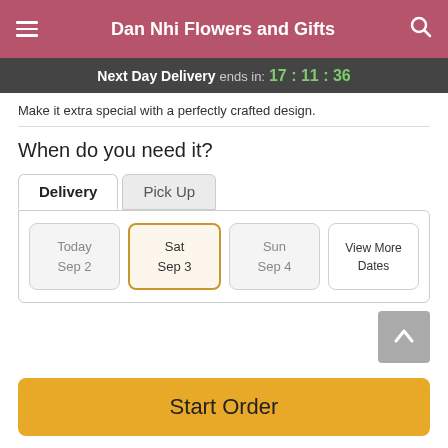Dan Nhi Flowers and Gifts
Next Day Delivery ends in: 17:11:36
Make it extra special with a perfectly crafted design.
When do you need it?
Delivery | Pick Up
Today Sep 2 | Sat Sep 3 | Sun Sep 4 | View More Dates
Guaranteed SAFE Checkout
Start Order